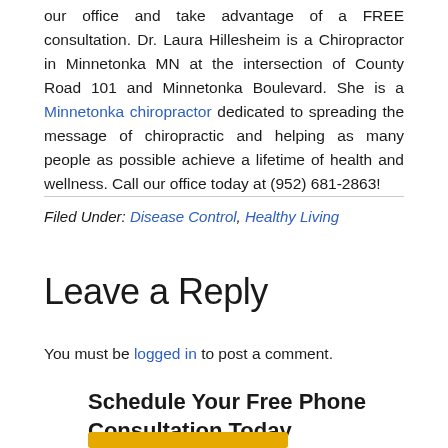our office and take advantage of a FREE consultation. Dr. Laura Hillesheim is a Chiropractor in Minnetonka MN at the intersection of County Road 101 and Minnetonka Boulevard. She is a Minnetonka chiropractor dedicated to spreading the message of chiropractic and helping as many people as possible achieve a lifetime of health and wellness. Call our office today at (952) 681-2863!
Filed Under: Disease Control, Healthy Living
Leave a Reply
You must be logged in to post a comment.
Schedule Your Free Phone Consultation Today